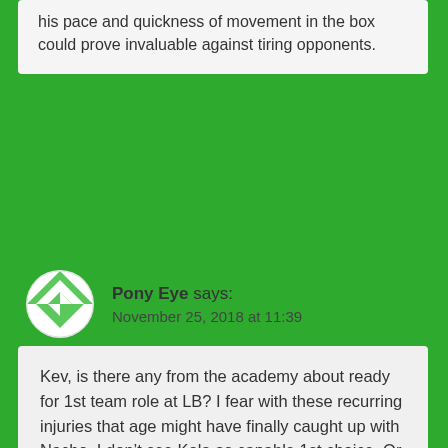his pace and quickness of movement in the box could prove invaluable against tiring opponents.
Pony Eye says: November 25, 2018 at 11:39
Kev, is there any from the academy about ready for 1st team role at LB? I fear with these recurring injuries that age might have finally caught up with Nacho. I don't see Kola as capable 1st choice. Or is the only real option the Jan window?